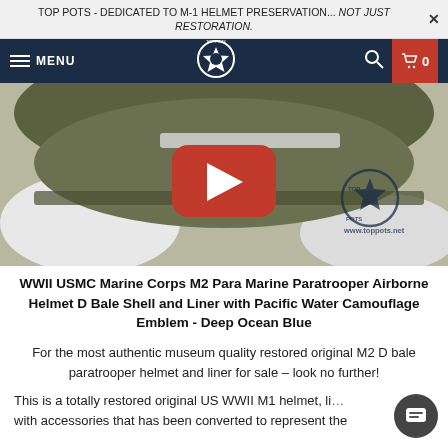TOP POTS - DEDICATED TO M-1 HELMET PRESERVATION... NOT JUST RESTORATION.
[Figure (screenshot): Navigation bar with hamburger menu, MENU text, Top Pots star logo, search icon, and red cart button showing 0]
[Figure (photo): YouTube video thumbnail showing a WWII M2 paratrooper helmet with chin strap on white gloved hands, with Top Pots watermark and YouTube play button overlay]
WWII USMC Marine Corps M2 Para Marine Paratrooper Airborne Helmet D Bale Shell and Liner with Pacific Water Camouflage Emblem - Deep Ocean Blue
For the most authentic museum quality restored original M2 D bale paratrooper helmet and liner for sale – look no further!
This is a totally restored original US WWII M1 helmet, liner with accessories that has been converted to represent the